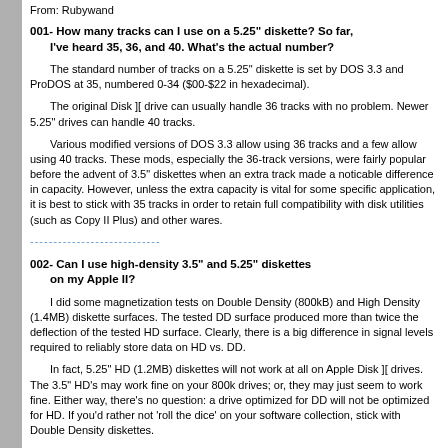From: Rubywand
001- How many tracks can I use on a 5.25" diskette? So far, I've heard 35, 36, and 40. What's the actual number?
The standard number of tracks on a 5.25" diskette is set by DOS 3.3 and ProDOS at 35, numbered 0-34 ($00-$22 in hexadecimal).
The original Disk ][ drive can usually handle 36 tracks with no problem. Newer 5.25" drives can handle 40 tracks.
Various modified versions of DOS 3.3 allow using 36 tracks and a few allow using 40 tracks. These mods, especially the 36-track versions, were fairly popular before the advent of 3.5" diskettes when an extra track made a noticable difference in capacity. However, unless the extra capacity is vital for some specific application, it is best to stick with 35 tracks in order to retain full compatibility with disk utilities (such as Copy II Plus) and other wares.
----------------------------
002- Can I use high-density 3.5" and 5.25" diskettes on my Apple II?
I did some magnetization tests on Double Density (800kB) and High Density (1.4MB) diskette surfaces. The tested DD surface produced more than twice the deflection of the tested HD surface. Clearly, there is a big difference in signal levels required to reliably store data on HD vs. DD.
In fact, 5.25" HD (1.2MB) diskettes will not work at all on Apple Disk ][ drives. The 3.5" HD's may work fine on your 800k drives; or, they may just seem to work fine. Either way, there's no question: a drive optimized for DD will not be optimized for HD. If you'd rather not 'roll the dice' on your software collection, stick with Double Density diskettes.